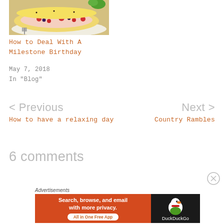[Figure (photo): A slice of strawberry cream roll cake on a white plate with fruit garnish]
How to Deal With A Milestone Birthday
May 7, 2018
In "Blog"
< Previous
How to have a relaxing day
Next >
Country Rambles
6 comments
Advertisements
[Figure (screenshot): DuckDuckGo advertisement banner: Search, browse, and email with more privacy. All in One Free App]